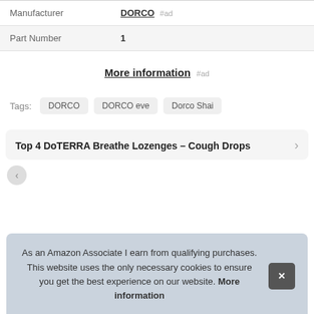| Manufacturer | DORCO #ad |
| Part Number | 1 |
More information #ad
Tags: DORCO  DORCO eve  Dorco Shai
Top 4 DoTERRA Breathe Lozenges – Cough Drops
As an Amazon Associate I earn from qualifying purchases. This website uses the only necessary cookies to ensure you get the best experience on our website. More information